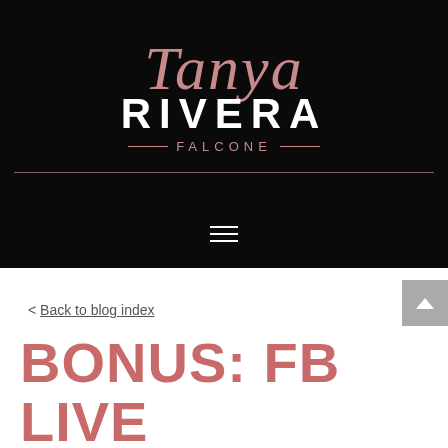[Figure (logo): Tanya Rivera Falcone logo on black background with rose gold script and serif lettering]
≡
< Back to blog index
BONUS: FB LIVE